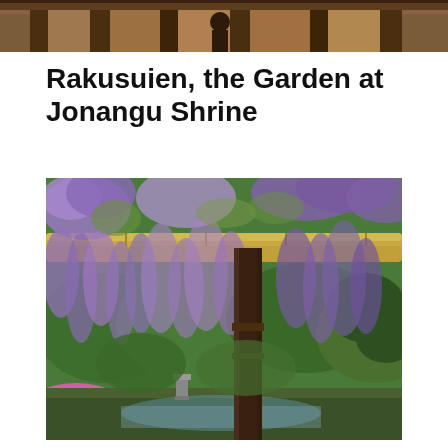[Figure (photo): Top strip showing partial view of a Japanese shrine building facade with people]
Rakusuien, the Garden at Jonangu Shrine
[Figure (photo): Wisteria flowers hanging from a pergola over a lush Japanese garden with azaleas and green trees at Jonangu Shrine]